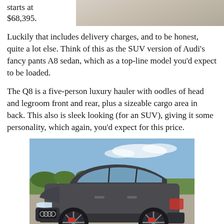starts at
$68,395.
[Figure (photo): Partial view of a vehicle or road surface at the top right of the page]
Luckily that includes delivery charges, and to be honest, quite a lot else. Think of this as the SUV version of Audi’s fancy pants A8 sedan, which as a top-line model you’d expect to be loaded.
The Q8 is a five-person luxury hauler with oodles of head and legroom front and rear, plus a sizeable cargo area in back. This also is sleek looking (for an SUV), giving it some personality, which again, you’d expect for this price.
[Figure (photo): Photo of a dark gray Audi Q8 SUV parked in a lot with green fields and blue sky in the background]